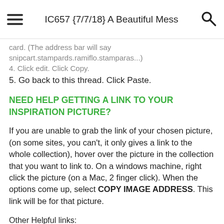IC657 {7/7/18} A Beautiful Mess
card. (The address bar will say snipcart.stampards.ramiflo.stampares...)
4. Click edit. Click Copy.
5. Go back to this thread. Click Paste.
NEED HELP GETTING A LINK TO YOUR INSPIRATION PICTURE?
If you are unable to grab the link of your chosen picture, (on some sites, you can't, it only gives a link to the whole collection), hover over the picture in the collection that you want to link to. On a windows machine, right click the picture (on a Mac, 2 finger click). When the options come up, select COPY IMAGE ADDRESS. This link will be for that picture.
Other Helpful links:
What is the Inspiration Challenge?
Subscribe to the Master List for Notifications
Get Help Posting Your Cards for Challenges